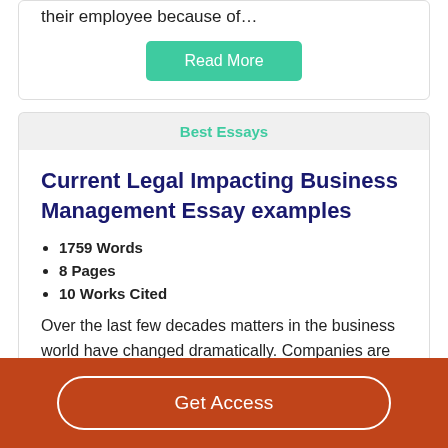their employee because of…
Read More
Best Essays
Current Legal Impacting Business Management Essay examples
1759 Words
8 Pages
10 Works Cited
Over the last few decades matters in the business world have changed dramatically. Companies are facing a wide range of
Get Access